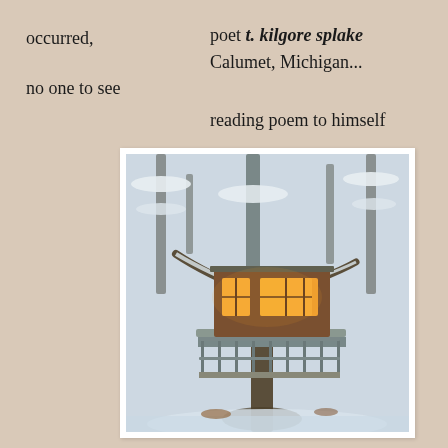occurred,
poet t. kilgore splake
Calumet, Michigan...
no one to see
reading poem to himself
[Figure (photo): A treehouse with warm glowing windows set among snow-covered trees in winter, featuring a deck/balcony railing below the cabin structure, elevated on tree trunks]